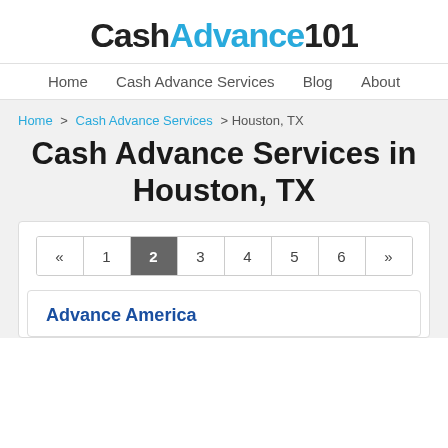CashAdvance101
Home   Cash Advance Services   Blog   About
Home > Cash Advance Services > Houston, TX
Cash Advance Services in Houston, TX
« 1 2 3 4 5 6 »
Advance America